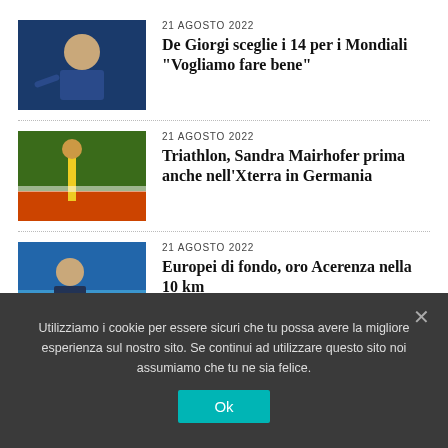[Figure (photo): Sports coach gesturing on sideline, blue/navy background]
21 AGOSTO 2022
De Giorgi sceglie i 14 per i Mondiali "Vogliamo fare bene"
[Figure (photo): Triathlon finish line scene with athlete and crowd, outdoor sunny]
21 AGOSTO 2022
Triathlon, Sandra Mairhofer prima anche nell'Xterra in Germania
[Figure (photo): Swimmer in arena branded gear with blue and UnipolSai BPE banners]
21 AGOSTO 2022
Europei di fondo, oro Acerenza nella 10 km
Utilizziamo i cookie per essere sicuri che tu possa avere la migliore esperienza sul nostro sito. Se continui ad utilizzare questo sito noi assumiamo che tu ne sia felice.